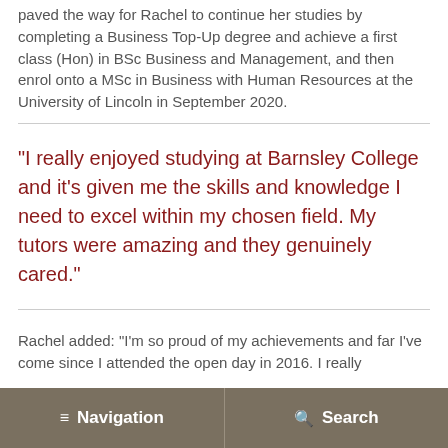paved the way for Rachel to continue her studies by completing a Business Top-Up degree and achieve a first class (Hon) in BSc Business and Management, and then enrol onto a MSc in Business with Human Resources at the University of Lincoln in September 2020.
“I really enjoyed studying at Barnsley College and it’s given me the skills and knowledge I need to excel within my chosen field. My tutors were amazing and they genuinely cared.”
Rachel added: “I’m so proud of my achievements and far I’ve come since I attended the open day in 2016. I really
Navigation   Search